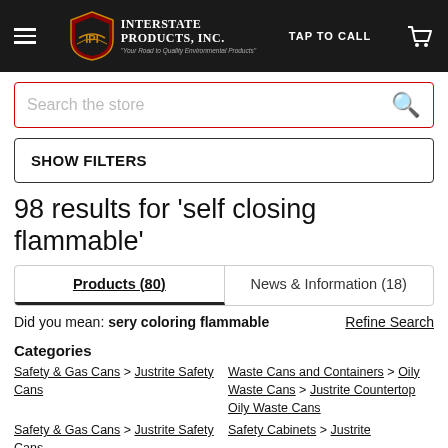[Figure (screenshot): Interstate Products, Inc. website header with logo, hamburger menu, TAP TO CALL, and cart icon on black background]
Search the store
SHOW FILTERS
98 results for 'self closing flammable'
Products (80)   News & Information (18)
Did you mean: sery coloring flammable    Refine Search
Categories
Safety & Gas Cans > Justrite Safety Cans
Waste Cans and Containers > Oily Waste Cans > Justrite Countertop Oily Waste Cans
Safety & Gas Cans > Justrite Safety Cans > Justrite
Safety Cabinets > Justrite